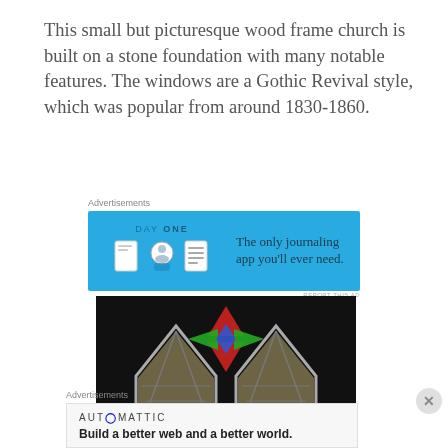This small but picturesque wood frame church is built on a stone foundation with many notable features. The windows are a Gothic Revival style, which was popular from around 1830-1860.
Advertisements
[Figure (screenshot): DAY ONE journaling app advertisement banner on blue background with icons and text: 'The only journaling app you'll ever need.']
[Figure (photo): Close-up photograph of stained glass church windows with colorful geometric pattern featuring red, green, and blue glass pieces arranged in a star/diamond shape against a dark background, with Gothic arch window frames visible.]
Advertisements
[Figure (screenshot): Automattic advertisement with logo and tagline: 'Build a better web and a better world.']